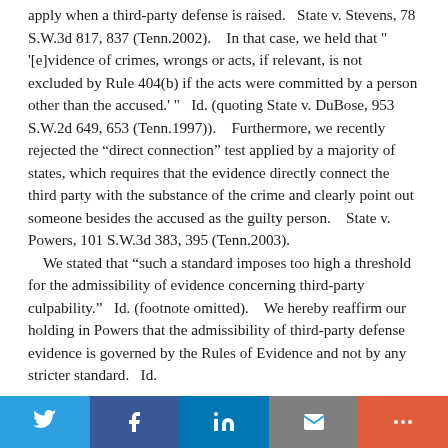apply when a third-party defense is raised.   State v. Stevens, 78 S.W.3d 817, 837 (Tenn.2002).    In that case, we held that " '[e]vidence of crimes, wrongs or acts, if relevant, is not excluded by Rule 404(b) if the acts were committed by a person other than the accused.' "   Id. (quoting State v. DuBose, 953 S.W.2d 649, 653 (Tenn.1997)).    Furthermore, we recently rejected the “direct connection” test applied by a majority of states, which requires that the evidence directly connect the third party with the substance of the crime and clearly point out someone besides the accused as the guilty person.    State v. Powers, 101 S.W.3d 383, 395 (Tenn.2003).    We stated that “such a standard imposes too high a threshold for the admissibility of evidence concerning third-party culpability.”   Id. (footnote omitted).    We hereby reaffirm our holding in Powers that the admissibility of third-party defense evidence is governed by the Rules of Evidence and not by any stricter standard.   Id.
Twitter | Facebook | LinkedIn | Email | More